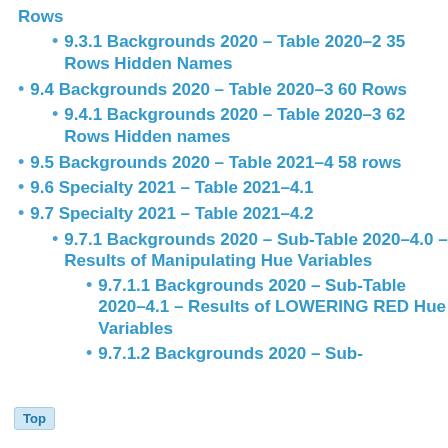Rows
9.3.1 Backgrounds 2020 – Table 2020–2 35 Rows Hidden Names
9.4 Backgrounds 2020 – Table 2020–3 60 Rows
9.4.1 Backgrounds 2020 – Table 2020–3 62 Rows Hidden names
9.5 Backgrounds 2020 – Table 2021–4 58 rows
9.6 Specialty 2021 – Table 2021–4.1
9.7 Specialty 2021 – Table 2021–4.2
9.7.1 Backgrounds 2020 – Sub-Table 2020–4.0 – Results of Manipulating Hue Variables
9.7.1.1 Backgrounds 2020 – Sub-Table 2020–4.1 – Results of LOWERING RED Hue Variables
9.7.1.2 Backgrounds 2020 – Sub-